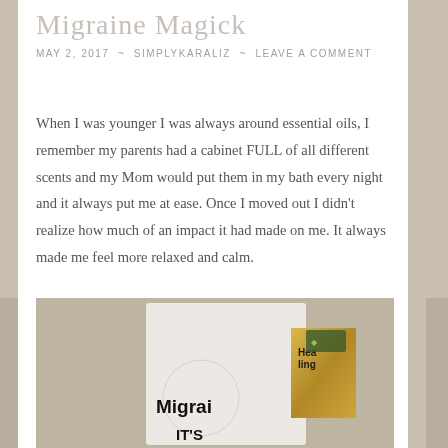Migraine Magick
MAY 2, 2017  ~  SIMPLYKARALIZ  ~  LEAVE A COMMENT
When I was younger I was always around essential oils, I remember my parents had a cabinet FULL of all different scents and my Mom would put them in my bath every night and it always put me at ease. Once I moved out I didn't realize how much of an impact it had made on me. It always made me feel more relaxed and calm.
[Figure (photo): Close-up photo of a Migraine Magick essential oil product bottle on a carpet surface, showing the label with 'Healing' text and brand logo, photographed at an angle.]